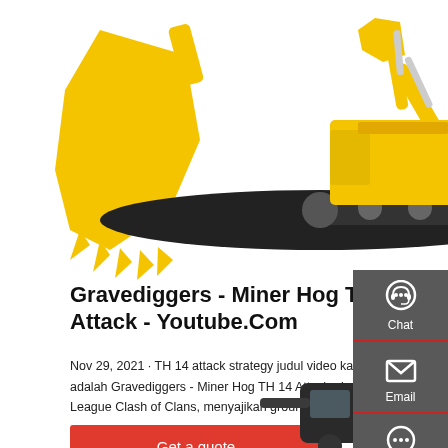[Figure (photo): Yellow large excavator/mining machine with bucket on left and full body view on right, white background]
Gravediggers - Miner Hog TH 14 Attack - Youtube.Com
Nov 29, 2021 · TH 14 attack strategy judul video kali ini adalah Gravediggers - Miner Hog TH 14 Attack - Legend League Clash of Clans, menyajikan ground attack strategy de
Get a quote
[Figure (photo): Dark-colored compact excavator/machine cab visible at bottom of page]
[Figure (infographic): Right sidebar with Chat, Email, and Contact icons on dark grey background]